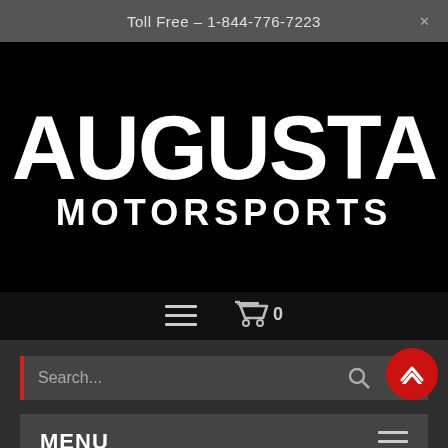Toll Free - 1-844-776-7223
[Figure (logo): Augusta Motorsports logo — large white bold text on black background reading AUGUSTA on top line and MOTORSPORTS on bottom line]
[Figure (infographic): Navigation icon row with hamburger menu and shopping cart with count 0]
Search...
MENU